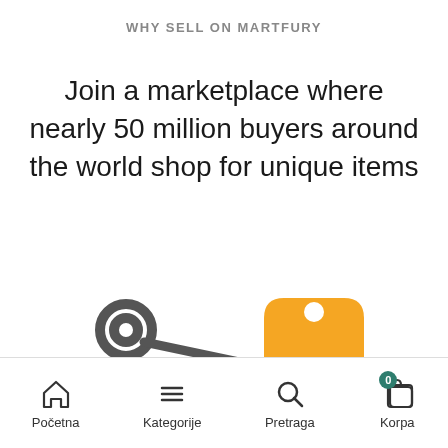WHY SELL ON MARTFURY
Join a marketplace where nearly 50 million buyers around the world shop for unique items
[Figure (illustration): Scissors icon (dark gray, outline style) cutting a dashed line toward a yellow price tag icon with a circular hole at top]
Početna   Kategorije   Pretraga   Korpa